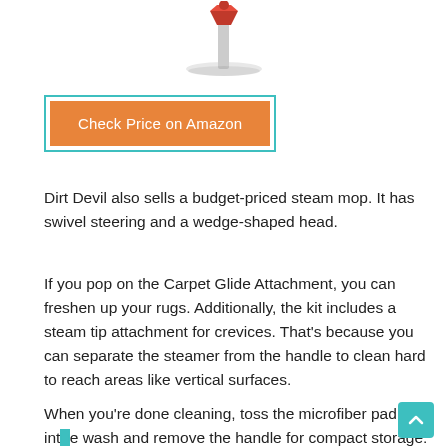[Figure (photo): Product image of a Dirt Devil steam mop partially visible at the top of the page]
Check Price on Amazon
Dirt Devil also sells a budget-priced steam mop. It has swivel steering and a wedge-shaped head.
If you pop on the Carpet Glide Attachment, you can freshen up your rugs. Additionally, the kit includes a steam tip attachment for crevices. That's because you can separate the steamer from the handle to clean hard to reach areas like vertical surfaces.
When you're done cleaning, toss the microfiber pad into the wash and remove the handle for compact storage.